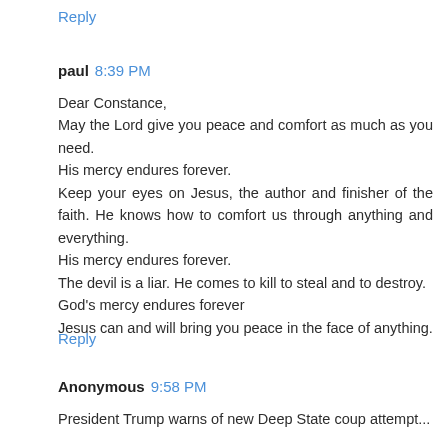Reply
paul  8:39 PM
Dear Constance,
May the Lord give you peace and comfort as much as you need.
His mercy endures forever.
Keep your eyes on Jesus, the author and finisher of the faith. He knows how to comfort us through anything and everything.
His mercy endures forever.
The devil is a liar. He comes to kill to steal and to destroy.
God's mercy endures forever
Jesus can and will bring you peace in the face of anything.
Reply
Anonymous  9:58 PM
President Trump warns of new Deep State coup attempt...